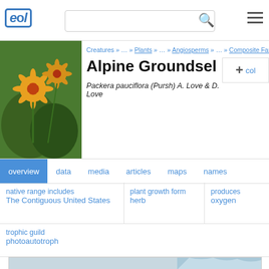eol [logo] [search bar] [menu]
[Figure (photo): Photo of Alpine Groundsel plant with yellow-orange daisy-like flowers against green foliage]
Creatures » … » Plants » … » Angiosperms » … » Composite Family »
Alpine Groundsel
Packera pauciflora (Pursh) A. Love & D. Love
+ col
overview    data    media    articles    maps    names
native range includes
The Contiguous United States
plant growth form
herb
produces
oxygen
trophic guild
photoautotroph
type specimen repository
Harvard UNiversity, Museum of Comparative Zoology
[Figure (map): Interactive map showing geographic distribution, with zoom controls (+, -), home button, and arrow navigation. Map shows coastal/geographic features in light blue and gray.]